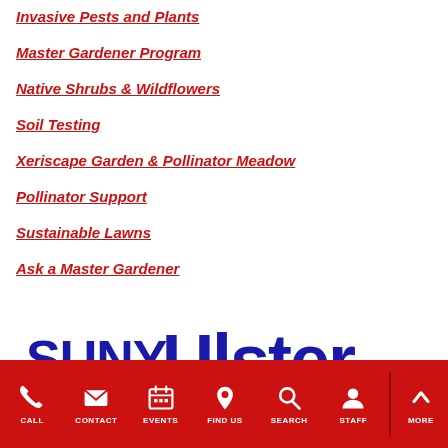Invasive Pests and Plants
Master Gardener Program
Native Shrubs & Wildflowers
Soil Testing
Xeriscape Garden & Pollinator Meadow
Pollinator Support
Sustainable Lawns
Ask a Master Gardener
[Figure (logo): SUNY Ulster logo with text 'SUNY Ulster Start Here. Go Far.' in blue]
CALL  CONTACT  EVENTS  FIND US  SEARCH  STAFF  MORE